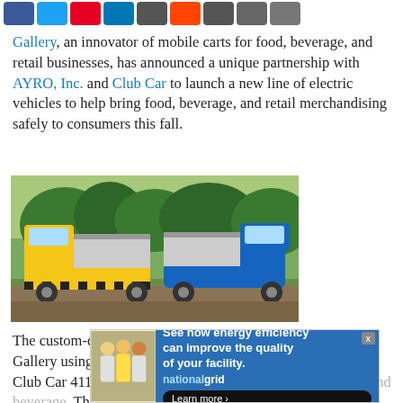[Figure (other): Social media sharing icons row: Facebook (blue), Twitter (light blue), Pinterest (red), LinkedIn (dark blue), Instagram (gray), Reddit (orange-red), Email (gray), Print (gray), Bookmark (gray)]
Gallery, an innovator of mobile carts for food, beverage, and retail businesses, has announced a unique partnership with AYRO, Inc. and Club Car to launch a new line of electric vehicles to help bring food, beverage, and retail merchandising safely to consumers this fall.
[Figure (photo): Outdoor photograph of two electric food vendor vehicles — one yellow and one blue — parked side by side on a paved area with trees in the background. Both vehicles have open side panels revealing vendor service areas.]
The custom-designed E Vehicles are designed and built by Gallery using AYRO's Lithium-Powered Vendor Box on the Club Car 411 Vehicle to support [text partially obscured by ad]. The new electric v[ehicles text partially obscured by ad]
[Figure (screenshot): Advertisement overlay from National Grid: 'See how energy efficiency can improve the quality of your facility.' with a Learn more button and image of workers.]